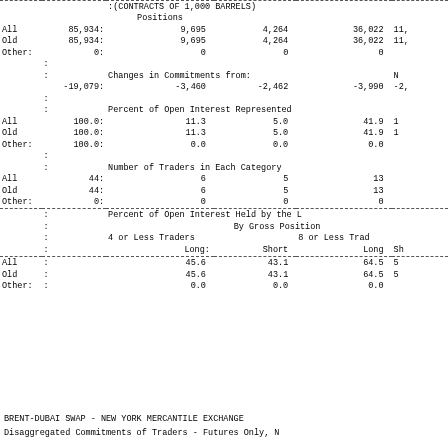|  |  | :(CONTRACTS OF 1,000 BARRELS) |  |  |  |
|  |  | Positions |  |  |  |
| All | 85,934: | 9,695 | 4,264 | 36,022 | 11, |
| Old | 85,934: | 9,695 | 4,264 | 36,022 | 11, |
| Other: | 0: | 0 | 0 | 0 |  |
|  |  |  |  |  |  |
|  |  | Changes in Commitments from: |  |  | N |
|  | -19,079: | -3,460 | -2,462 | -3,990 | -2, |
|  |  |  |  |  |  |
|  |  | Percent of Open Interest Represented |  |  |  |
| All | 100.0: | 11.3 | 5.0 | 41.9 |  |
| Old | 100.0: | 11.3 | 5.0 | 41.9 |  |
| Other: | 100.0: | 0.0 | 0.0 | 0.0 |  |
|  |  |  |  |  |  |
|  |  | Number of Traders in Each Category |  |  |  |
| All | 44: | 6 | 5 | 13 |  |
| Old | 44: | 6 | 5 | 13 |  |
| Other: | 0: | 0 | 0 | 0 |  |
|  |  | Percent of Open Interest Held by the |  |  |  |
|  |  | By Gross Position |  |  |  |
|  |  | 4 or Less Traders |  | 8 or Less Trad |  |
|  |  | Long: | Short | Long | Sh |
| All |  | 45.6 | 43.1 | 64.5 | 5 |
| Old |  | 45.6 | 43.1 | 64.5 | 5 |
| Other: |  | 0.0 | 0.0 | 0.0 |  |
BRENT-DUBAI SWAP - NEW YORK MERCANTILE EXCHANGE
Disaggregated Commitments of Traders - Futures Only, N